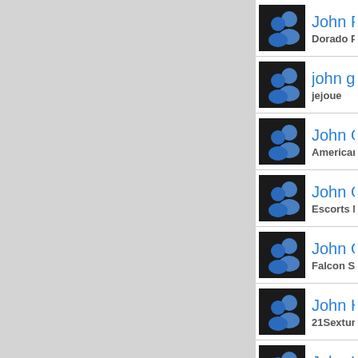John Fuse — Dorado Parad
john gorma — jejoue
John Gray — American Dre
John Gree — Escorts Near
John Gund — Falcon Studio
John Harry — 21Sextury Ca
John Hevy — Global Electro
John Host — HostiServer L